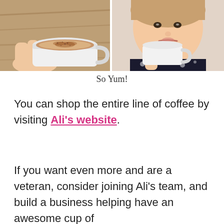[Figure (photo): Two photos side by side: left shows a hand holding a white coffee mug with latte art (cinnamon dusted pattern) on a wooden surface; right shows a woman holding a white coffee mug, wearing a black floral dress, smiling/making a face.]
So Yum!
You can shop the entire line of coffee by visiting Ali’s website.
If you want even more and are a veteran, consider joining Ali’s team, and build a business helping have an awesome cup of